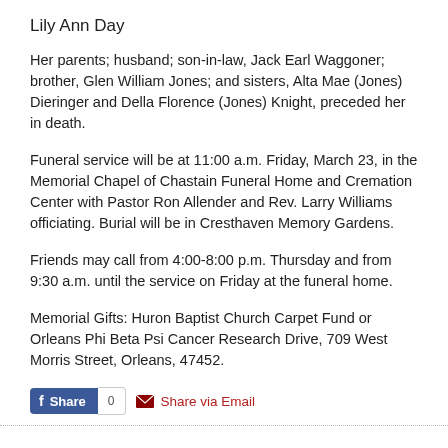Lily Ann Day
Her parents; husband; son-in-law, Jack Earl Waggoner; brother, Glen William Jones; and sisters, Alta Mae (Jones) Dieringer and Della Florence (Jones) Knight, preceded her in death.
Funeral service will be at 11:00 a.m. Friday, March 23, in the Memorial Chapel of Chastain Funeral Home and Cremation Center with Pastor Ron Allender and Rev. Larry Williams officiating. Burial will be in Cresthaven Memory Gardens.
Friends may call from 4:00-8:00 p.m. Thursday and from 9:30 a.m. until the service on Friday at the funeral home.
Memorial Gifts: Huron Baptist Church Carpet Fund or Orleans Phi Beta Psi Cancer Research Drive, 709 West Morris Street, Orleans, 47452.
Share  0  Share via Email